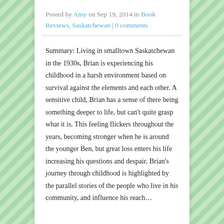Posted by Amy on Sep 19, 2014 in Book Reviews, Saskatchewan | 0 comments
Summary: Living in smalltown Saskatchewan in the 1930s, Brian is experiencing his childhood in a harsh environment based on survival against the elements and each other. A sensitive child, Brian has a sense of there being something deeper to life, but can't quite grasp what it is. This feeling flickers throughout the years, becoming stronger when he is around the younger Ben, but great loss enters his life increasing his questions and despair. Brian's journey through childhood is highlighted by the parallel stories of the people who live in his community, and influence his reach...